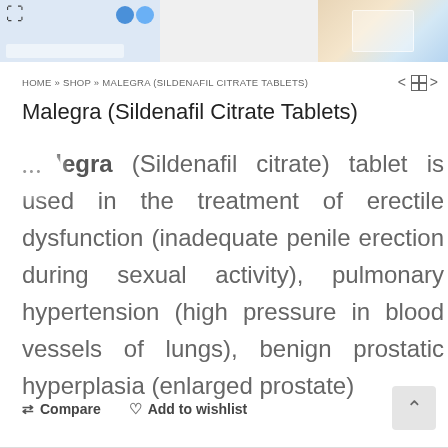[Figure (photo): Top image bar with product photos of Malegra tablets, expand icon on top-left, colorful packaging on top-right]
HOME » SHOP » MALEGRA (SILDENAFIL CITRATE TABLETS)
Malegra (Sildenafil Citrate Tablets)
Malegra (Sildenafil citrate) tablet is used in the treatment of erectile dysfunction (inadequate penile erection during sexual activity), pulmonary hypertension (high pressure in blood vessels of lungs), benign prostatic hyperplasia (enlarged prostate)
Compare   Add to wishlist